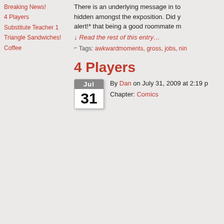Breaking News!
4 Players
Substitute Teacher 1
Triangle Sandwiches!
Coffee
There is an underlying message in to hidden amongst the exposition. Did y alert!* that being a good roommate m
↓ Read the rest of this entry…
Tags: awkwardmoments, gross, jobs, nin
4 Players
By Dan on July 31, 2009 at 2:19 p
Chapter: Comics